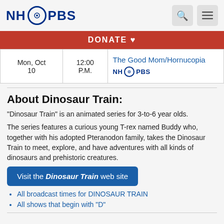NH PBS
| Date | Time | Show |
| --- | --- | --- |
| Mon, Oct 10 | 12:00 P.M. | The Good Mom/Hornucopia | NH PBS |
About Dinosaur Train:
"Dinosaur Train" is an animated series for 3-to-6 year olds.
The series features a curious young T-rex named Buddy who, together with his adopted Pteranodon family, takes the Dinosaur Train to meet, explore, and have adventures with all kinds of dinosaurs and prehistoric creatures.
Visit the Dinosaur Train web site
All broadcast times for DINOSAUR TRAIN
All shows that begin with "D"